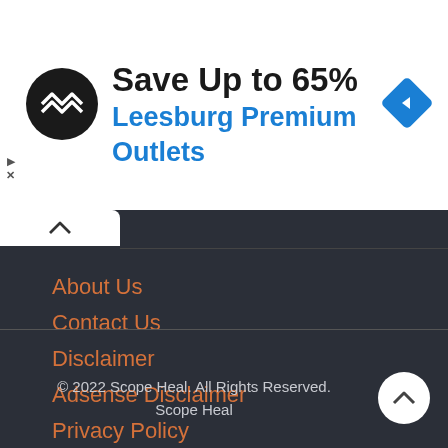[Figure (screenshot): Advertisement banner for Leesburg Premium Outlets showing logo, 'Save Up to 65%' text, outlet name in blue, and a navigation diamond icon]
About Us
Contact Us
Disclaimer
Adsense Disclaimer
Privacy Policy
Terms Of Use
© 2022 Scope Heal. All Rights Reserved.
Scope Heal